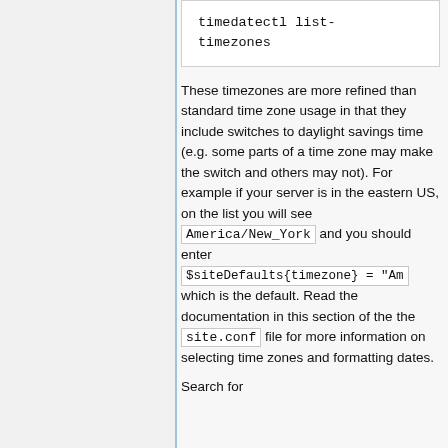These timezones are more refined than standard time zone usage in that they include switches to daylight savings time (e.g. some parts of a time zone may make the switch and others may not). For example if your server is in the eastern US, on the list you will see America/New_York and you should enter $siteDefaults{timezone} = "Am which is the default. Read the documentation in this section of the the site.conf file for more information on selecting time zones and formatting dates.
Search for